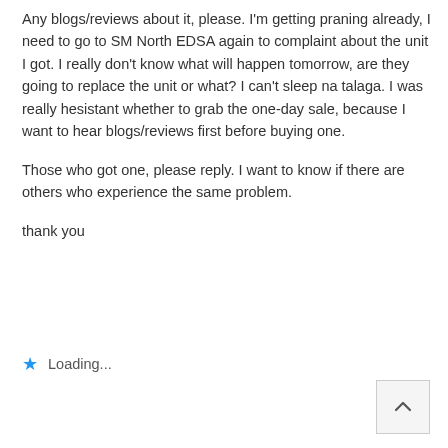Any blogs/reviews about it, please. I'm getting praning already, I need to go to SM North EDSA again to complaint about the unit I got. I really don't know what will happen tomorrow, are they going to replace the unit or what? I can't sleep na talaga. I was really hesistant whether to grab the one-day sale, because I want to hear blogs/reviews first before buying one.
Those who got one, please reply. I want to know if there are others who experience the same problem.
thank you
Loading...